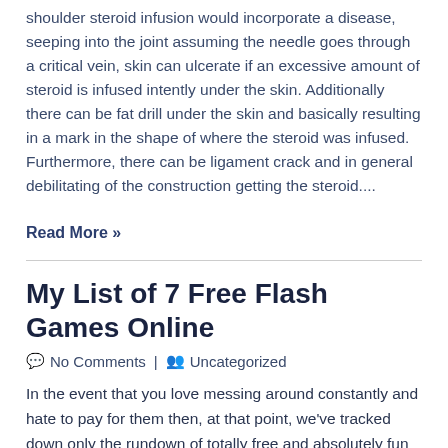shoulder steroid infusion would incorporate a disease, seeping into the joint assuming the needle goes through a critical vein, skin can ulcerate if an excessive amount of steroid is infused intently under the skin. Additionally there can be fat drill under the skin and basically resulting in a mark in the shape of where the steroid was infused. Furthermore, there can be ligament crack and in general debilitating of the construction getting the steroid....
Read More »
My List of 7 Free Flash Games Online
No Comments | Uncategorized
In the event that you love messing around constantly and hate to pay for them then, at that point, we've tracked down only the rundown of totally free and absolutely fun games for you! Gamers love to play a wide collection of